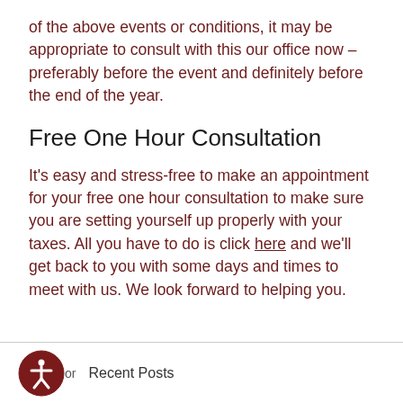of the above events or conditions, it may be appropriate to consult with this our office now – preferably before the event and definitely before the end of the year.
Free One Hour Consultation
It's easy and stress-free to make an appointment for your free one hour consultation to make sure you are setting yourself up properly with your taxes. All you have to do is click here and we'll get back to you with some days and times to meet with us. We look forward to helping you.
or   Recent Posts